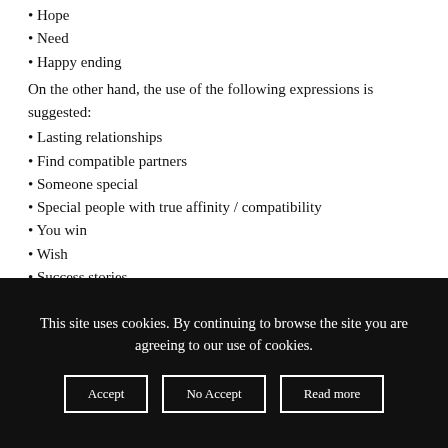• Hope
• Need
• Happy ending
On the other hand, the use of the following expressions is suggested:
• Lasting relationships
• Find compatible partners
• Someone special
• Special people with true affinity / compatibility
• You win
• Wish
• Success stories
The affiliate assumes that he will write only
This site uses cookies. By continuing to browse the site you are agreeing to our use of cookies.